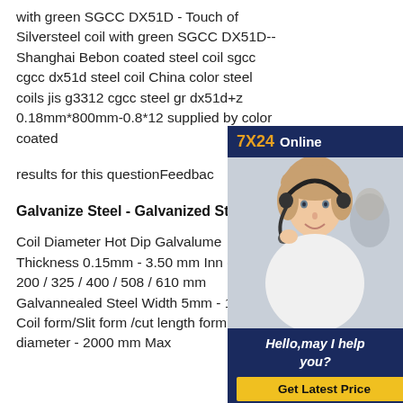with green SGCC DX51D - Touch of Silversteel coil with green SGCC DX51D-- Shanghai Bebon coated steel coil sgcc cgcc dx51d steel coil China color steel coils jis g3312 cgcc steel gr dx51d+z 0.18mm*800mm-0.8*12 supplied by color coated
results for this questionFeedback
Galvanize Steel - Galvanized Ste
Coil Diameter Hot Dip Galvalume Thickness 0.15mm - 3.50 mm Inn diameter 200 / 325 / 400 / 508 / 610 mm Galvannealed Steel Width 5mm - 1580mm Coil form/Slit form /cut length form Outer diameter - 2000 mm Max
[Figure (infographic): 7X24 Online chat widget with customer service representative wearing a headset, and a 'Hello, may I help you?' message with a 'Get Latest Price' button]